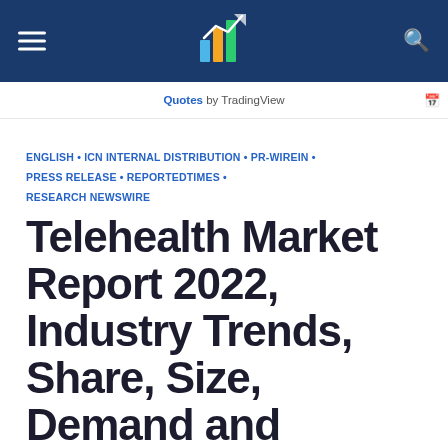Menu | Logo | Search
Quotes by TradingView
ENGLISH • ICN INTERNAL DISTRIBUTION • PR-WIREIN • PRESS RELEASE • REPORTEDTIMES • RESEARCH NEWSWIRE
Telehealth Market Report 2022, Industry Trends, Share, Size, Demand and Future Scope